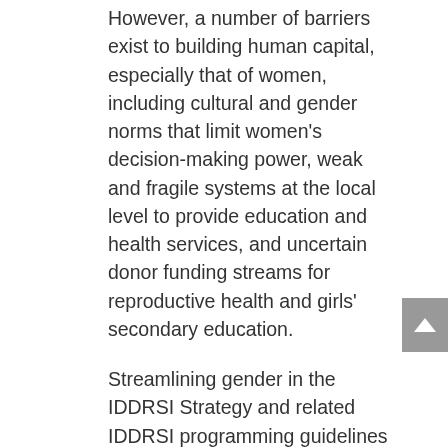However, a number of barriers exist to building human capital, especially that of women, including cultural and gender norms that limit women's decision-making power, weak and fragile systems at the local level to provide education and health services, and uncertain donor funding streams for reproductive health and girls' secondary education.
Streamlining gender in the IDDRSI Strategy and related IDDRSI programming guidelines was undertaken against the background of the acknowledged importance of gender in the implementation of IDDRSI. In today's era of globalisation, greater movement of workers has enabled skilled workers to move from low-income countries to higher income countries. However, this brain drain, also often referred to as human capital flight, has had adverse effects for developing economies that lose their best